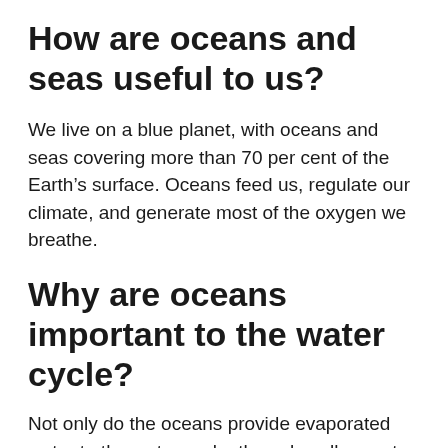How are oceans and seas useful to us?
We live on a blue planet, with oceans and seas covering more than 70 per cent of the Earth’s surface. Oceans feed us, regulate our climate, and generate most of the oxygen we breathe.
Why are oceans important to the water cycle?
Not only do the oceans provide evaporated water to the water cycle, they also allow water to move all around the globe as ocean currents. Oceans are the storehouses of water nature uses to run the water cycle.